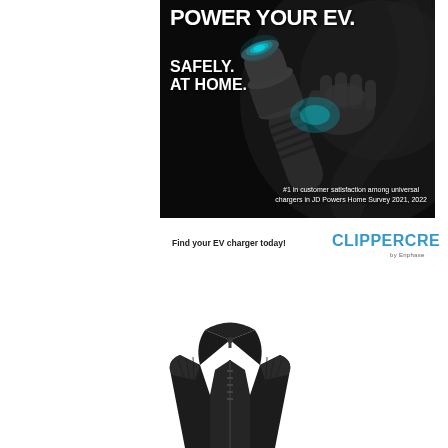[Figure (photo): Dark advertisement image showing an EV charger plug being inserted, on black background with text overlay: POWER YOUR EV. SAFELY. AT HOME. #1 in customer satisfaction among universal chargers in JD Powers Home Survey 2021, 2022]
Find your EV charger today!
[Figure (logo): ClipperCreek by Enphase logo in blue text]
[Figure (photo): Black jacket/vest product photo showing collar and upper body]